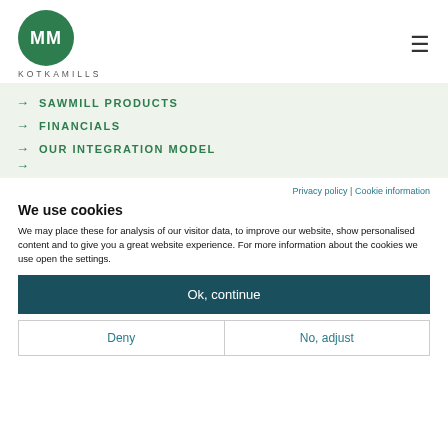[Figure (logo): Kotkamills MM logo: green circle with white MM letters, and 'KOTKAMILLS' text below]
→ SAWMILL PRODUCTS
→ FINANCIALS
→ OUR INTEGRATION MODEL
Privacy policy | Cookie information
We use cookies
We may place these for analysis of our visitor data, to improve our website, show personalised content and to give you a great website experience. For more information about the cookies we use open the settings.
Ok, continue
Deny
No, adjust